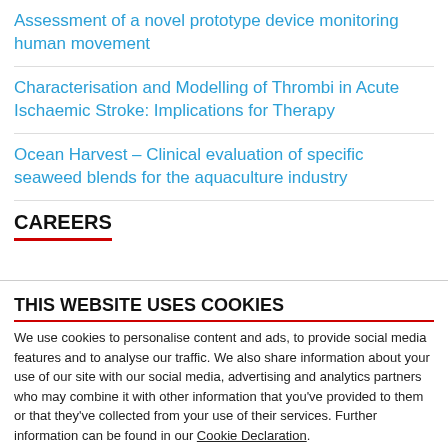Assessment of a novel prototype device monitoring human movement
Characterisation and Modelling of Thrombi in Acute Ischaemic Stroke: Implications for Therapy
Ocean Harvest – Clinical evaluation of specific seaweed blends for the aquaculture industry
CAREERS
THIS WEBSITE USES COOKIES
We use cookies to personalise content and ads, to provide social media features and to analyse our traffic. We also share information about your use of our site with our social media, advertising and analytics partners who may combine it with other information that you've provided to them or that they've collected from your use of their services. Further information can be found in our Cookie Declaration.
Allow selection | Allow all cookies
Necessary | Preferences | Statistics | Marketing | Show details